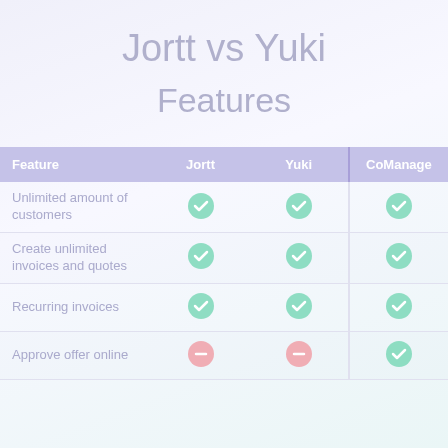Jortt vs Yuki
Features
| Feature | Jortt | Yuki | CoManage |
| --- | --- | --- | --- |
| Unlimited amount of customers | ✓ | ✓ | ✓ |
| Create unlimited invoices and quotes | ✓ | ✓ | ✓ |
| Recurring invoices | ✓ | ✓ | ✓ |
| Approve offer online | ✗ | ✗ | ✓ |